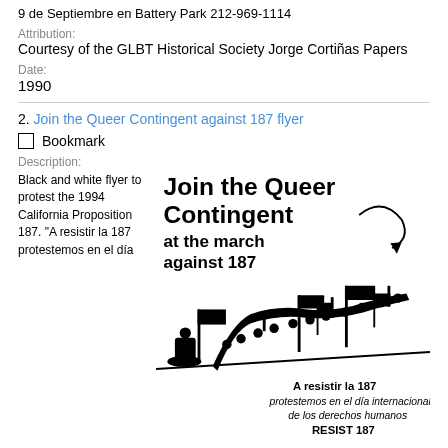9 de Septiembre en Battery Park 212-969-1114
Attribution:
Courtesy of the GLBT Historical Society Jorge Cortiñas Papers
Date:
1990
2. Join the Queer Contingent against 187 flyer
Bookmark
Description:
Black and white flyer to protest the 1994 California Proposition 187. "A resistir la 187 protestemos en el día
[Figure (illustration): Black and white flyer image showing marching protesters with banners and signs. Text reads 'Join the Queer Contingent at the march against 187' and 'A resistir la 187 protestemos en el día internacional de los derechos humanos RESIST 187']